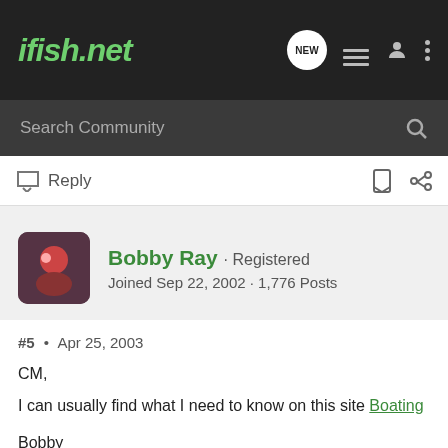ifish.net
Search Community
Reply
Bobby Ray · Registered
Joined Sep 22, 2002 · 1,776 Posts
#5 • Apr 25, 2003
CM,
I can usually find what I need to know on this site Boating

Bobby